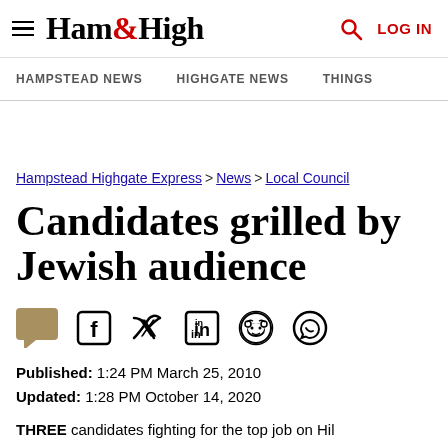Ham&High — HAMPSTEAD NEWS | HIGHGATE NEWS | THINGS — search | LOG IN
Hampstead Highgate Express > News > Local Council
Candidates grilled by Jewish audience
[Figure (other): Social sharing icons: comment, Facebook, Twitter, LinkedIn, Reddit, WhatsApp]
Published: 1:24 PM March 25, 2010
Updated: 1:28 PM October 14, 2020
THREE candidates fighting for the top job on Hil...